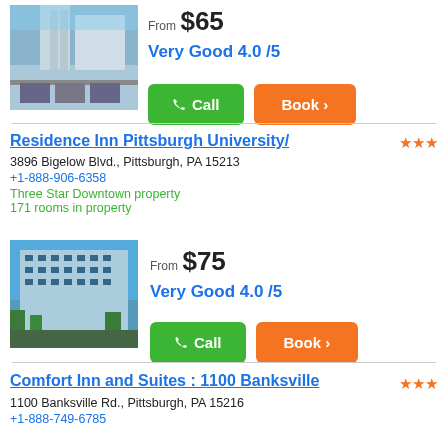[Figure (photo): Hotel building exterior photo - first hotel]
From $65
Very Good 4.0 /5
Call | Book >
Residence Inn Pittsburgh University/
3896 Bigelow Blvd., Pittsburgh, PA 15213
+1-888-906-6358
Three Star Downtown property
171 rooms in property
[Figure (photo): Residence Inn Pittsburgh University exterior photo]
From $75
Very Good 4.0 /5
Call | Book >
Comfort Inn and Suites : 1100 Banksville
1100 Banksville Rd., Pittsburgh, PA 15216
+1-888-749-6785